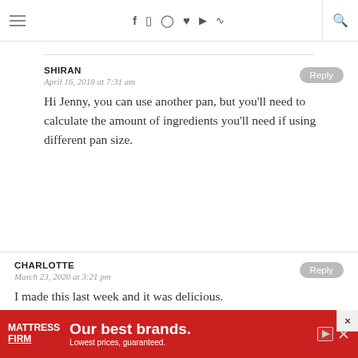Navigation bar with hamburger menu, social icons (f, Instagram, Pinterest, heart, YouTube, RSS), and search icon
SHIRAN
April 16, 2018 at 7:31 am
Hi Jenny, you can use another pan, but you'll need to calculate the amount of ingredients you'll need if using different pan size.
CHARLOTTE
March 23, 2020 at 3:21 pm
I made this last week and it was delicious.
[Figure (other): Mattress Firm advertisement banner: red background with 'MATTRESS FIRM' logo on left, 'Our best brands. Lowest prices, guaranteed.' text in white, play/forward icon and close (x) button on right.]